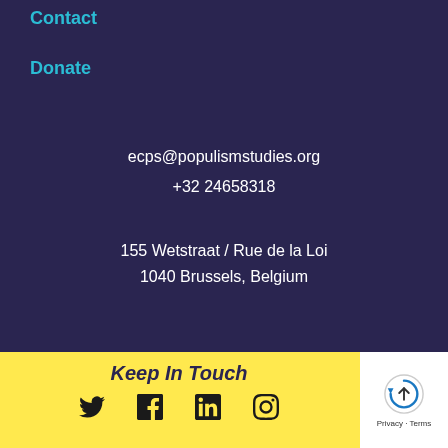Contact
Donate
ecps@populismstudies.org
+32 24658318
155 Wetstraat / Rue de la Loi
1040 Brussels, Belgium
Keep In Touch
[Figure (other): Social media icons: Twitter, Facebook, LinkedIn, Instagram]
[Figure (other): Privacy/Terms widget with circular arrow icon, Privacy · Terms text]